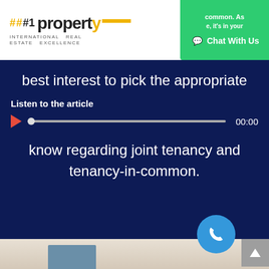##1 property INTERNATIONAL REAL ESTATE EXCELLENCE
best interest to pick the appropriate
Listen to the article 00:00
know regarding joint tenancy and tenancy-in-common.
[Figure (photo): Person signing a document next to a model house, with a blue phone call button overlay and a gray back-to-top arrow button]